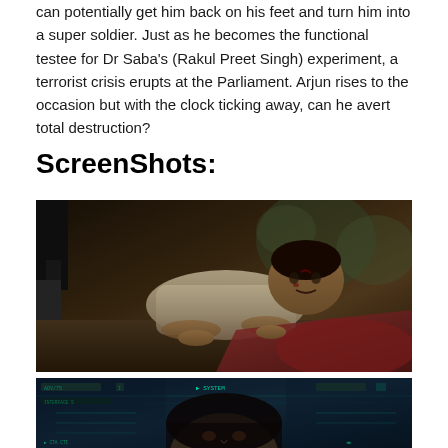can potentially get him back on his feet and turn him into a super soldier. Just as he becomes the functional testee for Dr Saba's (Rakul Preet Singh) experiment, a terrorist crisis erupts at the Parliament. Arjun rises to the occasion but with the clock ticking away, can he avert total destruction?
ScreenShots:
[Figure (photo): Movie still showing a man in a white shirt crawling on the ground, looking injured and distressed, with another figure partially visible. Dark cinematic tone.]
[Figure (photo): Movie still showing a woman's face with futuristic HUD/tech overlay interface in the background, dark blue-green tones.]